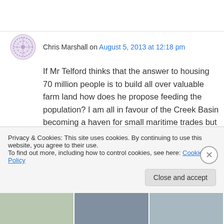Chris Marshall on August 5, 2013 at 12:18 pm
If Mr Telford thinks that the answer to housing 70 million people is to build all over valuable farm land how does he propose feeding the population? I am all in favour of the Creek Basin becoming a haven for small maritime trades but it is also desirable to build houses in the centre of Faversham if we are to avoid the sort of horrible suburban sprawl which disfigures so
Privacy & Cookies: This site uses cookies. By continuing to use this website, you agree to their use.
To find out more, including how to control cookies, see here: Cookie Policy
Close and accept